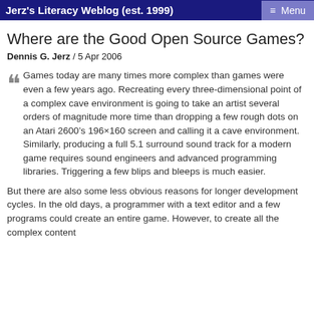Jerz's Literacy Weblog (est. 1999)  ≡ Menu
Where are the Good Open Source Games?
Dennis G. Jerz / 5 Apr 2006
“Games today are many times more complex than games were even a few years ago. Recreating every three-dimensional point of a complex cave environment is going to take an artist several orders of magnitude more time than dropping a few rough dots on an Atari 2600’s 196×160 screen and calling it a cave environment. Similarly, producing a full 5.1 surround sound track for a modern game requires sound engineers and advanced programming libraries. Triggering a few blips and bleeps is much easier.
But there are also some less obvious reasons for longer development cycles. In the old days, a programmer with a text editor and a few programs could create an entire game. However, to create all the complex content